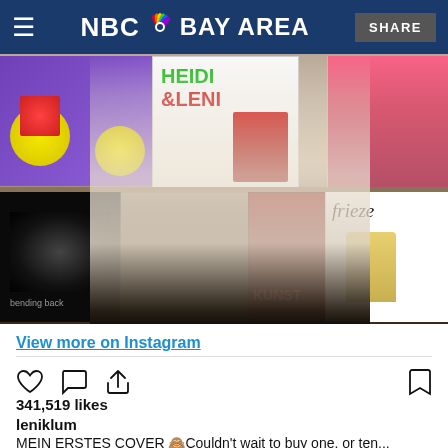NBC Bay Area | SHARE
[Figure (photo): Person holding a magazine with 'HEIDI & LENI' text in a bookstore/newsstand with various magazines on shelves including Frieze magazine]
View more on Instagram
341,519 likes
leniklum
MEIN ERSTES COVER 🙈Couldn't wait to buy one, or ten...